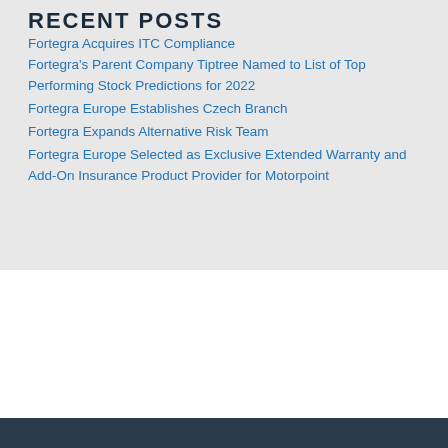RECENT POSTS
Fortegra Acquires ITC Compliance
Fortegra's Parent Company Tiptree Named to List of Top Performing Stock Predictions for 2022
Fortegra Europe Establishes Czech Branch
Fortegra Expands Alternative Risk Team
Fortegra Europe Selected as Exclusive Extended Warranty and Add-On Insurance Product Provider for Motorpoint